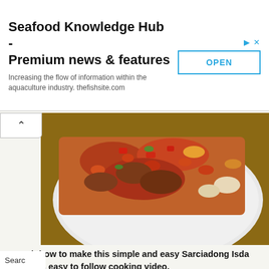[Figure (screenshot): Advertisement banner for Seafood Knowledge Hub with title, subtitle, and OPEN button]
[Figure (photo): Close-up photo of Sarciadong Isda dish on a white plate with tomato-based sauce and vegetables, shot from above on a wooden surface]
Watch how to make this simple and easy Sarciadong Isda with this easy to follow cooking video.
[Figure (screenshot): YouTube video thumbnail for Sarciadong Isda also known as ... with circular avatar of woman in pink shirt, dark background with food image below]